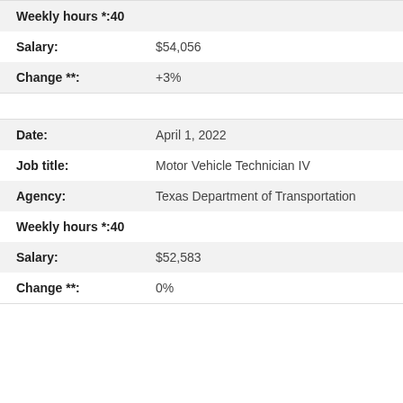| Weekly hours *: | 40 |
| Salary: | $54,056 |
| Change **: | +3% |
| Date: | April 1, 2022 |
| Job title: | Motor Vehicle Technician IV |
| Agency: | Texas Department of Transportation |
| Weekly hours *: | 40 |
| Salary: | $52,583 |
| Change **: | 0% |